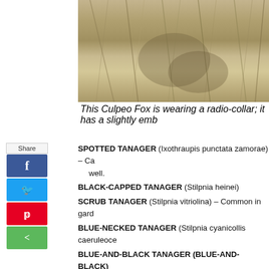[Figure (photo): Close-up photograph of a Culpeo Fox partially obscured by dried grass/vegetation, wearing a radio-collar]
This Culpeo Fox is wearing a radio-collar; it has a slightly emb
SPOTTED TANAGER (Ixothraupis punctata zamorae) – Ca well.
BLACK-CAPPED TANAGER (Stilpnia heinei)
SCRUB TANAGER (Stilpnia vitriolina) – Common in gard
BLUE-NECKED TANAGER (Stilpnia cyanicollis caeruleoce
BLUE-AND-BLACK TANAGER (BLUE-AND-BLACK)
BERYL-SPANGLED TANAGER (Tangara nigroviridis nig
PARADISE TANAGER (Tangara chilensis chilensis) – I thi
GOLDEN-EARED TANAGER (Tangara chrysotis) – We h of the Tangaras in my opinion.
SAFFRON-CROWNED TANAGER (Tangara xanthocepha
FLAME-FACED TANAGER (FLAME-FACED) (Tangara
GOLDEN TANAGER (PULCHRA GROUP) (Tangara arth
SWALLOW TANAGER (Tersina viridis occidentalis)
BLACK-FACED DACNIS (Dacnis lineata) [*]
BLUE DACNIS (Dacnis cayana)